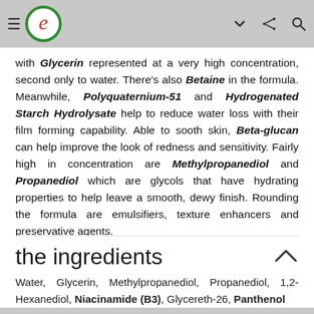≡ e [logo] ∨ ⋮ 🔍
with Glycerin represented at a very high concentration, second only to water. There's also Betaine in the formula. Meanwhile, Polyquaternium-51 and Hydrogenated Starch Hydrolysate help to reduce water loss with their film forming capability. Able to sooth skin, Beta-glucan can help improve the look of redness and sensitivity. Fairly high in concentration are Methylpropanediol and Propanediol which are glycols that have hydrating properties to help leave a smooth, dewy finish. Rounding the formula are emulsifiers, texture enhancers and preservative agents.
the ingredients
Water, Glycerin, Methylpropanediol, Propanediol, 1,2-Hexanediol, Niacinamide (B3), Glycereth-26, Panthenol